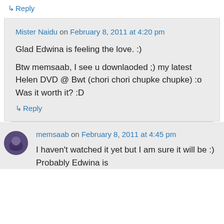↳ Reply
Mister Naidu on February 8, 2011 at 4:20 pm
Glad Edwina is feeling the love. :)
Btw memsaab, I see u downlaoded ;) my latest Helen DVD @ Bwt (chori chori chupke chupke) :o Was it worth it? :D
↳ Reply
memsaab on February 8, 2011 at 4:45 pm
I haven't watched it yet but I am sure it will be :) Probably Edwina is